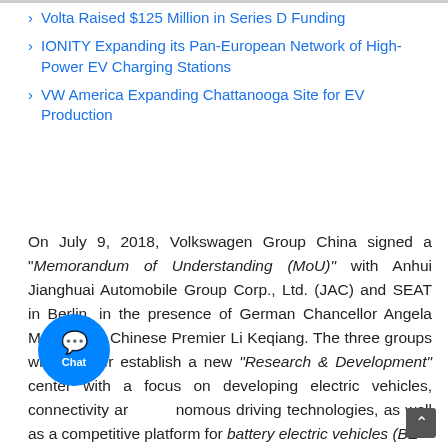Volta Raised $125 Million in Series D Funding
IONITY Expanding its Pan-European Network of High-Power EV Charging Stations
VW America Expanding Chattanooga Site for EV Production
On July 9, 2018, Volkswagen Group China signed a "Memorandum of Understanding (MoU)" with Anhui Jianghuai Automobile Group Corp., Ltd. (JAC) and SEAT in Berlin, in the presence of German Chancellor Angela Merkel and Chinese Premier Li Keqiang. The three groups will together establish a new "Research & Development" center with a focus on developing electric vehicles, connectivity and autonomous driving technologies, as well as a competitive platform for battery electric vehicles (BE...